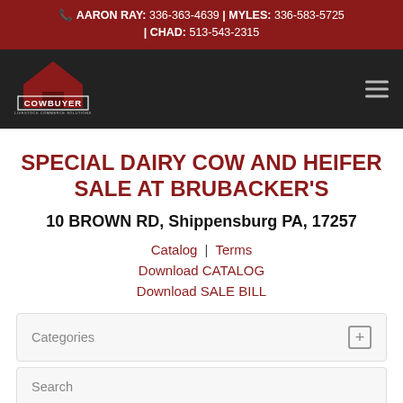AARON RAY: 336-363-4639 | MYLES: 336-583-5725 | CHAD: 513-543-2315
[Figure (logo): Cowbuyer livestock commerce solutions logo with red barn graphic]
SPECIAL DAIRY COW AND HEIFER SALE AT BRUBACKER'S
10 BROWN RD, Shippensburg PA, 17257
Catalog | Terms
Download CATALOG
Download SALE BILL
Categories
Search